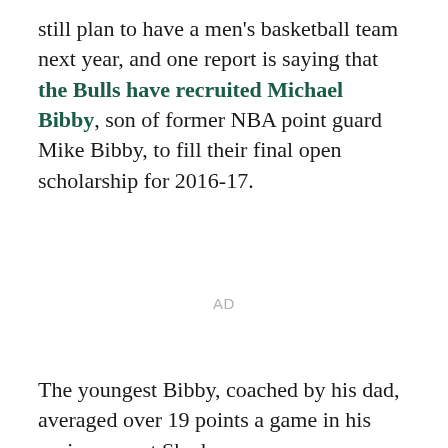still plan to have a men's basketball team next year, and one report is saying that the Bulls have recruited Michael Bibby, son of former NBA point guard Mike Bibby, to fill their final open scholarship for 2016-17.
AD
The youngest Bibby, coached by his dad, averaged over 19 points a game in his senior year at Shadow